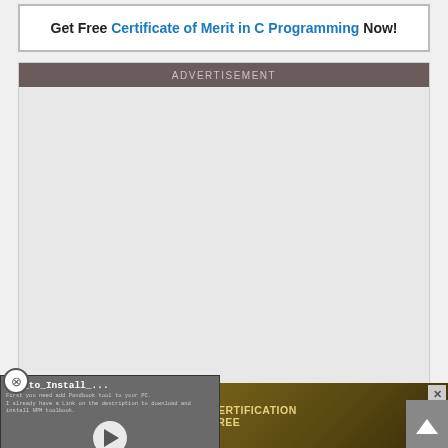Get Free Certificate of Merit in C Programming Now!
ADVERTISEMENT
[Figure (screenshot): Video thumbnail showing 'How_to_Install_...' tutorial with play button, text content visible in background, and progress bar at bottom]
[Figure (infographic): Sanfoundry Certification advertisement with gear graphics and text 'SANFOUNDRY CERTIFICATION GET STARTED FREE']